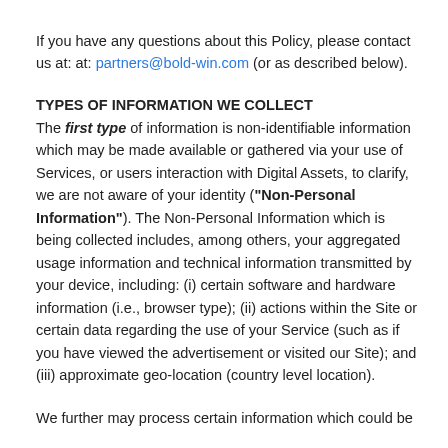If you have any questions about this Policy, please contact us at: at: partners@bold-win.com (or as described below).
TYPES OF INFORMATION WE COLLECT
The first type of information is non-identifiable information which may be made available or gathered via your use of Services, or users interaction with Digital Assets, to clarify, we are not aware of your identity (“Non-Personal Information”). The Non-Personal Information which is being collected includes, among others, your aggregated usage information and technical information transmitted by your device, including: (i) certain software and hardware information (i.e., browser type); (ii) actions within the Site or certain data regarding the use of your Service (such as if you have viewed the advertisement or visited our Site); and (iii) approximate geo-location (country level location).
We further may process certain information which could be